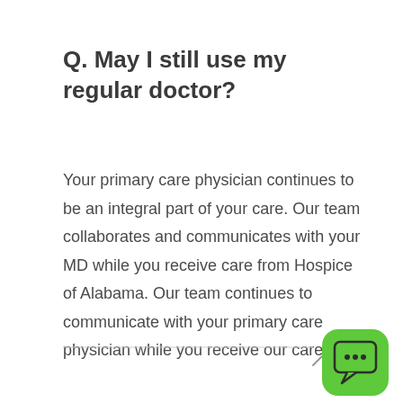Q. May I still use my regular doctor?
Your primary care physician continues to be an integral part of your care. Our team collaborates and communicates with your MD while you receive care from Hospice of Alabama. Our team continues to communicate with your primary care physician while you receive our care.
[Figure (illustration): Green rounded square chat button with three dots speech bubble icon in bottom right corner, and a small upward chevron arrow above a horizontal divider line]